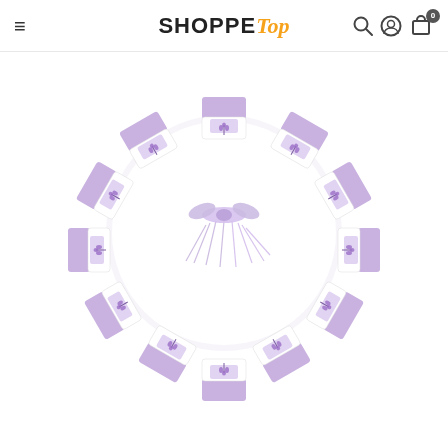SHOPPETOP — navigation header with hamburger menu, logo, search, account, and cart icons
[Figure (photo): A circular arrangement of approximately 12 lavender sachet bags with purple fabric and white bottoms printed with lavender flower illustrations, fanned out in a ring pattern with ribbon ties shown in the center of the circle, on a white background.]